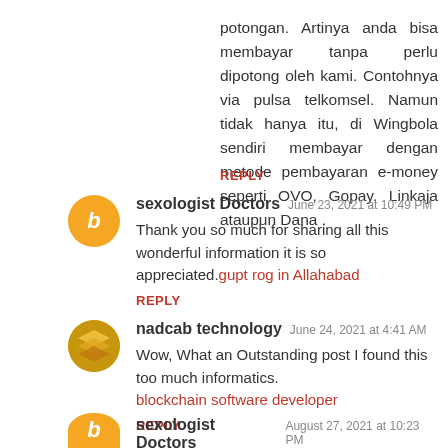potongan. Artinya anda bisa membayar tanpa perlu dipotong oleh kami. Contohnya via pulsa telkomsel. Namun tidak hanya itu, di Wingbola sendiri membayar dengan metode pembayaran e-money seperti OVO, Gopay, Linkaja ataupun Dana .
REPLY
sexologist Doctors  June 23, 2021 at 10:49 PM
Thank you so much for sharing all this wonderful information it is so appreciated.gupt rog in Allahabad
REPLY
nadcab technology  June 24, 2021 at 4:41 AM
Wow, What an Outstanding post I found this too much informatics.
blockchain software developer
REPLY
sexologist Doctors  August 27, 2021 at 10:23 PM